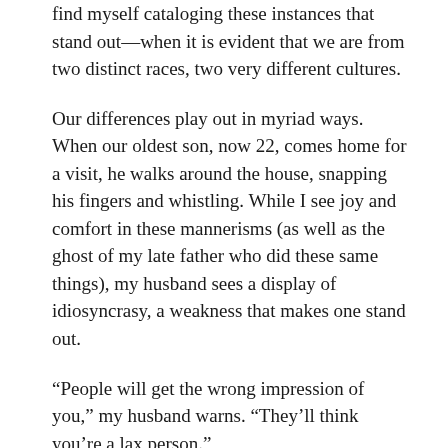find myself cataloging these instances that stand out—when it is evident that we are from two distinct races, two very different cultures.
Our differences play out in myriad ways. When our oldest son, now 22, comes home for a visit, he walks around the house, snapping his fingers and whistling. While I see joy and comfort in these mannerisms (as well as the ghost of my late father who did these same things), my husband sees a display of idiosyncrasy, a weakness that makes one stand out.
“People will get the wrong impression of you,” my husband warns. “They’ll think you’re a lax person.”
As soon as my son’s hand goes to his hair while he’s making a point, my husband stops him: “People will think you’re insecure. You have to always be aware of these habits. Get rid of them.”